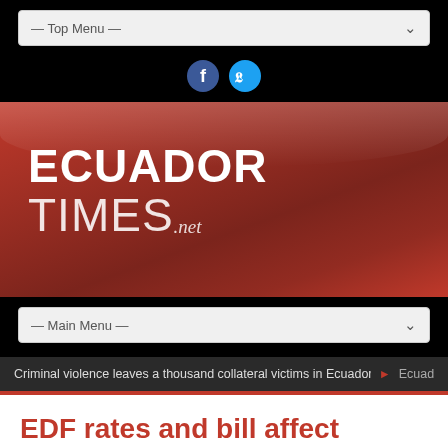— Top Menu —
[Figure (logo): Facebook and Twitter social media icons]
[Figure (logo): Ecuador Times .net logo on red gradient banner background]
— Main Menu —
Criminal violence leaves a thousand collateral victims in Ecuador ▶ Ecuad
EDF rates and bill affect country